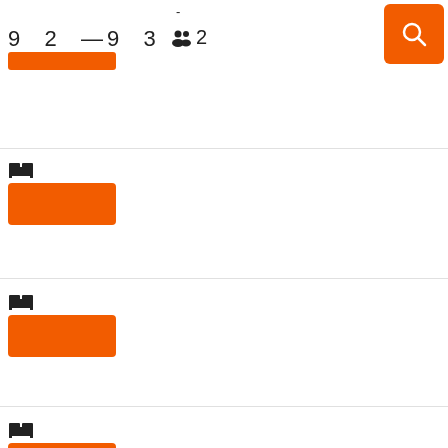-
9  2  —9  3    👥 2
[Figure (screenshot): Orange search button with magnifying glass icon]
[Figure (screenshot): Orange rectangular button/pill in top section]
[Figure (screenshot): Bed icon followed by orange rectangular button - section 1]
[Figure (screenshot): Bed icon followed by orange rectangular button - section 2]
[Figure (screenshot): Bed icon followed by orange rectangular button - section 3]